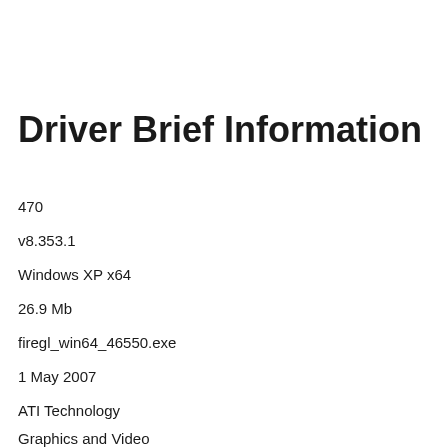Driver Brief Information
470
v8.353.1
Windows XP x64
26.9 Mb
firegl_win64_46550.exe
1 May 2007
ATI Technology
Graphics and Video
hardware